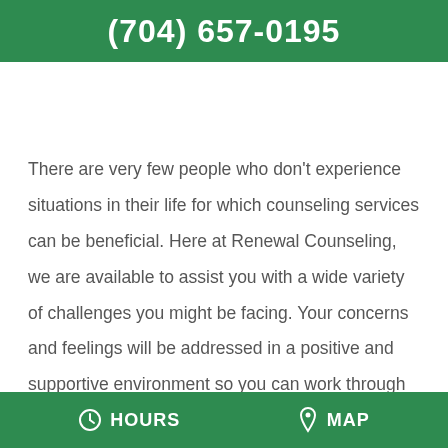(704) 657-0195
There are very few people who don't experience situations in their life for which counseling services can be beneficial. Here at Renewal Counseling, we are available to assist you with a wide variety of challenges you might be facing. Your concerns and feelings will be addressed in a positive and supportive environment so you can work through the stress, coping challenges, and relationship
HOURS   MAP